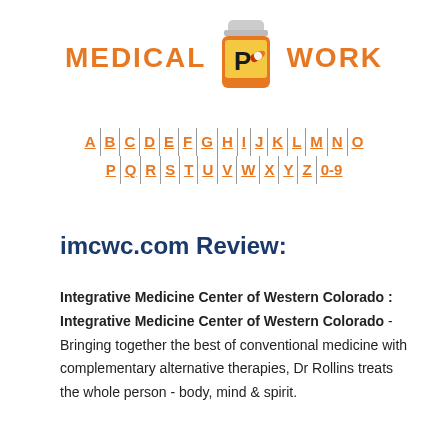[Figure (logo): Medical Pwork logo with orange pill bottle containing letter P and capsule, with orange bold text MEDICAL on left and WORK on right]
[Figure (infographic): Alphabetical navigation bar with letters A-Z and 0-9, each letter separated by vertical lines, rendered in orange bold underlined text]
imcwc.com Review:
Integrative Medicine Center of Western Colorado : Integrative Medicine Center of Western Colorado - Bringing together the best of conventional medicine with complementary alternative therapies, Dr Rollins treats the whole person - body, mind & spirit.